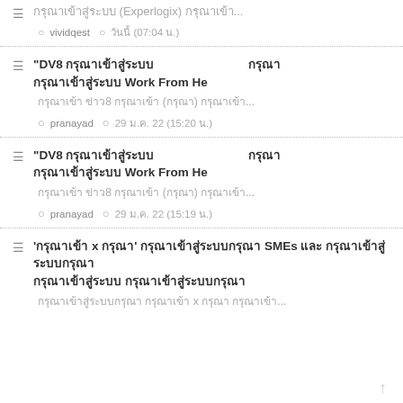กรุณาเข้าสู่ระบบ (Experlogix) กรุณาเข้า...
vividqest  วันนี้ (07:04 น.)
"DV8 ขอมอบ...Work From He" ข่าวสาร ข่าว8 ข่าวด่วน (ข่าววัน) ต่อเนื่อง...
pranayad  29 ม.ค. 22 (15:20 น.)
"DV8 ขอมอบ...Work From He" ข่าวสาร ข่าว8 ข่าวด่วน (ข่าววัน) ต่อเนื่อง...
pranayad  29 ม.ค. 22 (15:19 น.)
'ธุรกิจ x ความงาม' แนะแนวทางธุรกิจ SMEs และ เปิดเทรนด์ธุรกิจ เปิดสัมมนาธุรกิจ
เปิดสัมมนาธุรกิจ ธุรกิจ x ความงาม ต่อเนื่อง...